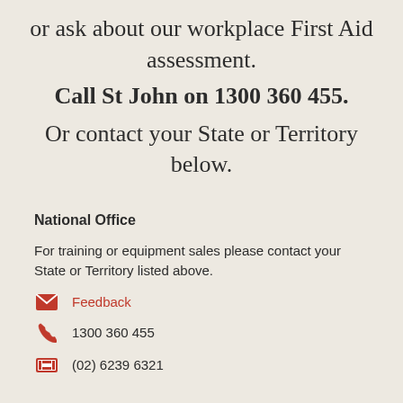or ask about our workplace First Aid assessment.
Call St John on 1300 360 455.
Or contact your State or Territory below.
National Office
For training or equipment sales please contact your State or Territory listed above.
Feedback
1300 360 455
(02) 6239 6321